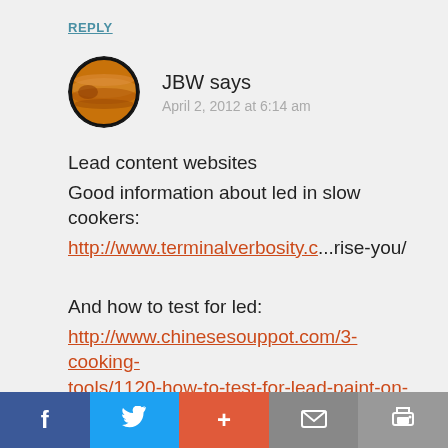REPLY
JBW says
April 2, 2012 at 6:14 am
Lead content websites
Good information about led in slow cookers:
http://www.terminalverbosity.c...rise-you/

And how to test for led:
http://www.chinesesouppot.com/3-cooking-tools/1120-how-to-test-for-lead-paint-on-ceramic-clay-pots
REPLY